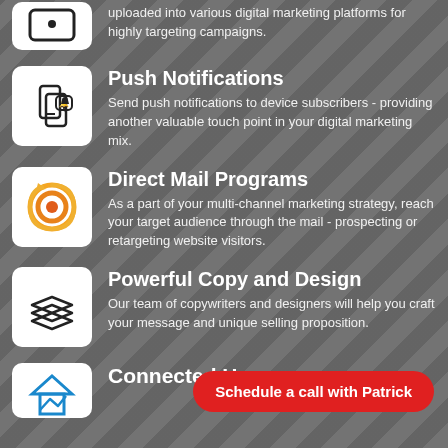uploaded into various digital marketing platforms for highly targeting campaigns.
Push Notifications
Send push notifications to device subscribers - providing another valuable touch point in your digital marketing mix.
Direct Mail Programs
As a part of your multi-channel marketing strategy, reach your target audience through the mail - prospecting or retargeting website visitors.
Powerful Copy and Design
Our team of copywriters and designers will help you craft your message and unique selling proposition.
Connected Home
Schedule a call with Patrick